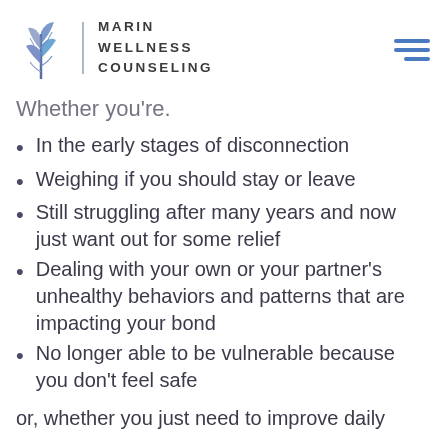[Figure (logo): Marin Wellness Counseling logo with stylized plant/tree icon and organization name]
Whether you're.
In the early stages of disconnection
Weighing if you should stay or leave
Still struggling after many years and now just want out for some relief
Dealing with your own or your partner's unhealthy behaviors and patterns that are impacting your bond
No longer able to be vulnerable because you don't feel safe
or, whether you just need to improve daily